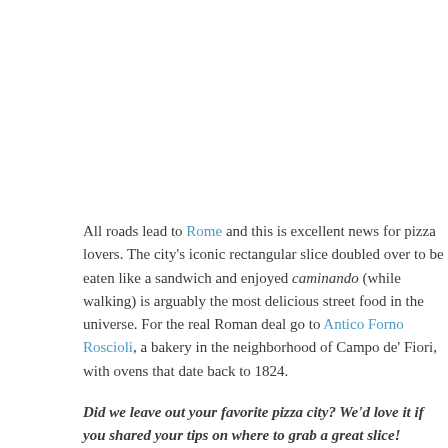All roads lead to Rome and this is excellent news for pizza lovers. The city's iconic rectangular slice doubled over to be eaten like a sandwich and enjoyed caminando (while walking) is arguably the most delicious street food in the universe. For the real Roman deal go to Antico Forno Roscioli, a bakery in the neighborhood of Campo de' Fiori, with ovens that date back to 1824.
Did we leave out your favorite pizza city? We'd love it if you shared your tips on where to grab a great slice!